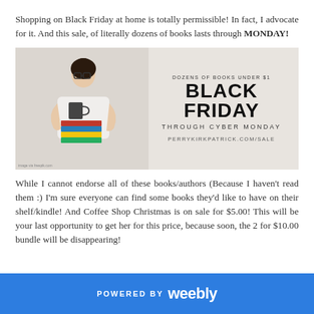Shopping on Black Friday at home is totally permissible! In fact, I advocate for it. And this sale, of literally dozens of books lasts through MONDAY!
[Figure (infographic): Black Friday promotional banner showing a woman holding a stack of books and a mug. Text reads: DOZENS OF BOOKS UNDER $1 / BLACK FRIDAY / THROUGH CYBER MONDAY / PERRYKIRKPATRICK.COM/SALE]
While I cannot endorse all of these books/authors (Because I haven't read them :) I'm sure everyone can find some books they'd like to have on their shelf/kindle! And Coffee Shop Christmas is on sale for $5.00! This will be your last opportunity to get her for this price, because soon, the 2 for $10.00 bundle will be disappearing!
POWERED BY weebly